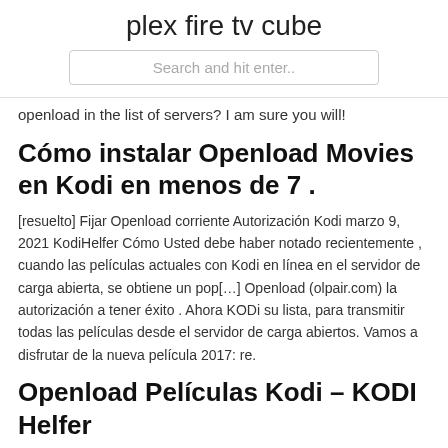plex fire tv cube
Search and hit enter..
openload in the list of servers? I am sure you will!
Cómo instalar Openload Movies en Kodi en menos de 7 .
[resuelto] Fijar Openload corriente Autorización Kodi marzo 9, 2021 KodiHelfer Cómo Usted debe haber notado recientemente , cuando las películas actuales con Kodi en línea en el servidor de carga abierta, se obtiene un pop[…] Openload (olpair.com) la autorización a tener éxito . Ahora KODi su lista, para transmitir todas las películas desde el servidor de carga abiertos. Vamos a disfrutar de la nueva película 2017: re.
Openload Películas Kodi – KODI Helfer
Step 1: First you need to select an appropriate version of Kodi for your operating system. Pick the suitable version. Select the